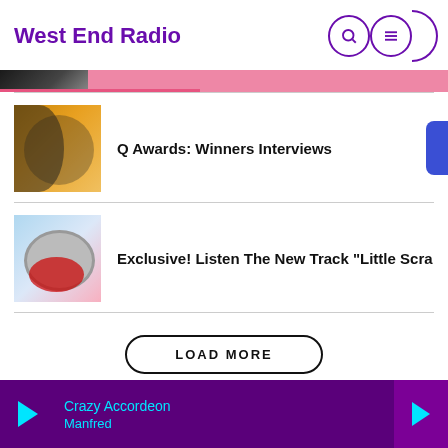West End Radio
[Figure (screenshot): Partial top image strip showing a person cropped]
Q Awards: Winners Interviews
[Figure (photo): Two people celebrating on yellow background]
Exclusive! Listen The New Track “Little Scra
[Figure (photo): Wireless headphones on pink and blue background]
LOAD MORE
HOME
Crazy Accordeon
Manfred